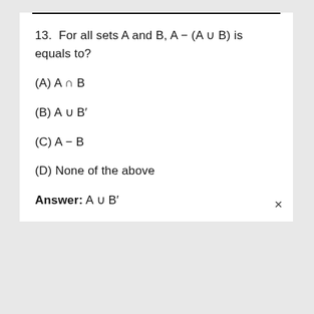13. For all sets A and B, A − (A ∪ B) is equals to?
(A) A ∩ B
(B) A ∪ B′
(C) A − B
(D) None of the above
Answer: A ∪ B′